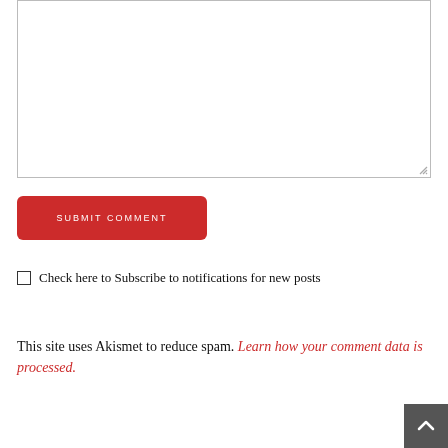[Figure (other): A large empty text area input box with a resize handle in the bottom-right corner]
SUBMIT COMMENT
Check here to Subscribe to notifications for new posts
This site uses Akismet to reduce spam. Learn how your comment data is processed.